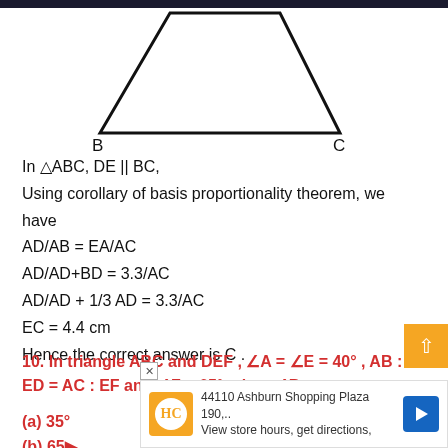[Figure (illustration): A trapezoid shape (triangle with top cut off) with vertices labeled B (bottom-left) and C (bottom-right). The top two vertices are unlabeled, forming a trapezoid. Lines are thick black strokes.]
In △ABC, DE || BC,
Using corollary of basis proportionality theorem, we have
AD/AB = EA/AC
AD/AD+BD = 3.3/AC
AD/AD + 1/3 AD = 3.3/AC
EC = 4.4 cm
Hence the correct answer is C .
10. In triangle ABC and DEF , ∠A = ∠E = 40° , AB : ED = AC : EF and ∠F = 65° , then ∠B =
(a) 35°
(b) 65
(c) 75